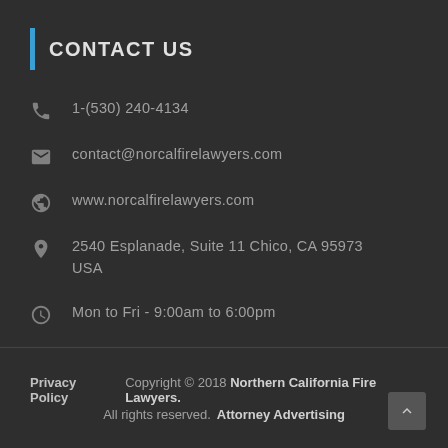CONTACT US
1-(530) 240-4134
contact@norcalfirelawyers.com
www.norcalfirelawyers.com
2540 Esplanade, Suite 11 Chico, CA 95973 USA
Mon to Fri - 9:00am to 6:00pm
Privacy Policy   Copyright © 2018 Northern California Fire Lawyers. All rights reserved.   Attorney Advertising